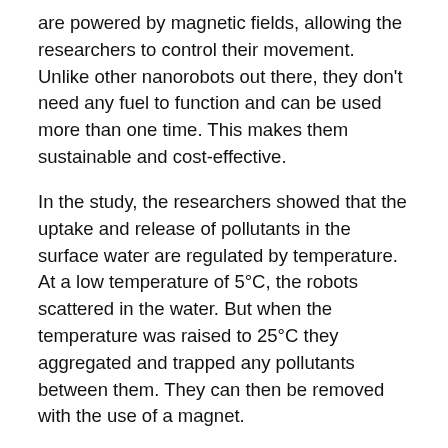are powered by magnetic fields, allowing the researchers to control their movement. Unlike other nanorobots out there, they don't need any fuel to function and can be used more than one time. This makes them sustainable and cost-effective.
In the study, the researchers showed that the uptake and release of pollutants in the surface water are regulated by temperature. At a low temperature of 5°C, the robots scattered in the water. But when the temperature was raised to 25°C they aggregated and trapped any pollutants between them. They can then be removed with the use of a magnet.
The nanorobots could eliminate about 65% of the arsenic in 100 minutes, based on the 10 tests done by the researchers for the study. Pundera told ZME Science that the technology is scalable, which is why with his team he is currently in conversations with wastewater treatment companies, hoping to move the system from bench to proof of concept.